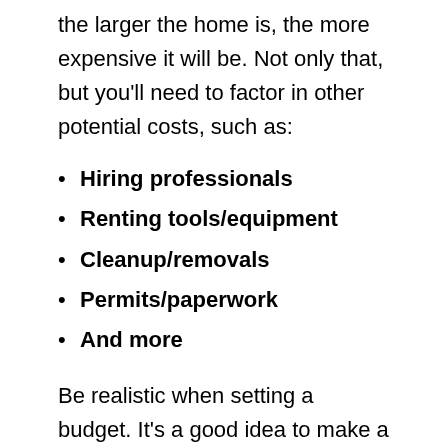the larger the home is, the more expensive it will be. Not only that, but you'll need to factor in other potential costs, such as:
Hiring professionals
Renting tools/equipment
Cleanup/removals
Permits/paperwork
And more
Be realistic when setting a budget. It's a good idea to make a checklist of everything that will likely cost you money, and then you can do your research to get a rough idea of how much each